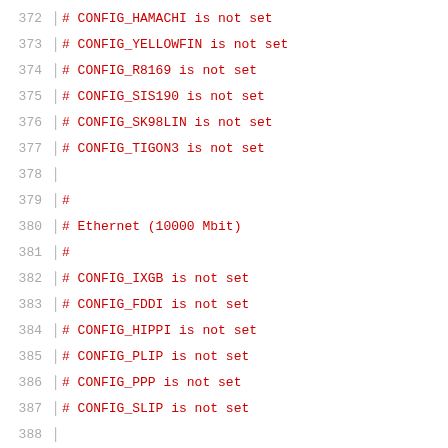372  # CONFIG_HAMACHI is not set
373  # CONFIG_YELLOWFIN is not set
374  # CONFIG_R8169 is not set
375  # CONFIG_SIS190 is not set
376  # CONFIG_SK98LIN is not set
377  # CONFIG_TIGON3 is not set
378
379  #
380  # Ethernet (10000 Mbit)
381  #
382  # CONFIG_IXGB is not set
383  # CONFIG_FDDI is not set
384  # CONFIG_HIPPI is not set
385  # CONFIG_PLIP is not set
386  # CONFIG_PPP is not set
387  # CONFIG_SLIP is not set
388
389  #
390  # Wireless LAN (non-hamradio)
391  #
392  CONFIG_NET_RADIO=y
393